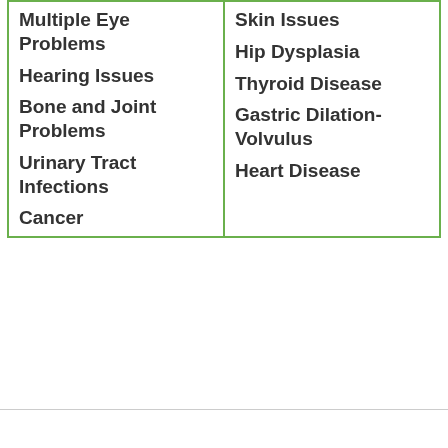| Multiple Eye Problems
Hearing Issues
Bone and Joint Problems
Urinary Tract Infections
Cancer | Skin Issues
Hip Dysplasia
Thyroid Disease
Gastric Dilation-Volvulus
Heart Disease |